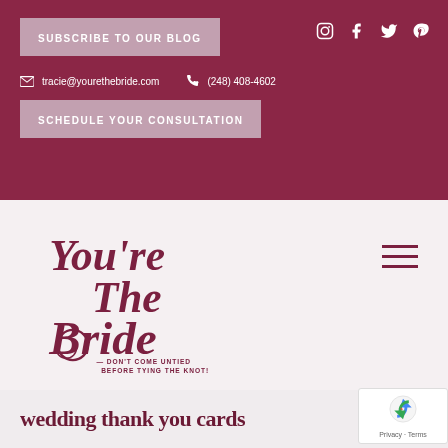SUBSCRIBE TO OUR BLOG
[Figure (illustration): Social media icons: Instagram, Facebook, Twitter, Pinterest in white on maroon background]
tracie@yourethebride.com
(248) 408-4602
SCHEDULE YOUR CONSULTATION
[Figure (logo): You're The Bride logo in script font with tagline: DON'T COME UNTIED BEFORE TYING THE KNOT!]
[Figure (illustration): Hamburger menu icon (three horizontal lines) in maroon]
wedding thank you cards
[Figure (illustration): Google reCAPTCHA badge with Privacy and Terms links]